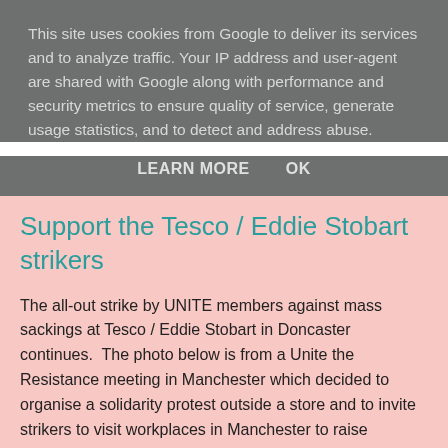This site uses cookies from Google to deliver its services and to analyze traffic. Your IP address and user-agent are shared with Google along with performance and security metrics to ensure quality of service, generate usage statistics, and to detect and address abuse.
LEARN MORE    OK
Support the Tesco / Eddie Stobart strikers
The all-out strike by UNITE members against mass sackings at Tesco / Eddie Stobart in Doncaster continues.  The photo below is from a Unite the Resistance meeting in Manchester which decided to organise a solidarity protest outside a store and to invite strikers to visit workplaces in Manchester to raise support.
Send cheques payable to "TGWU 8-9/490 Branch Tesco Contract" to Harriet Eisner, Unite, Sovereign Court, 300 Barrow Road, Sheffield S9 1JQ.